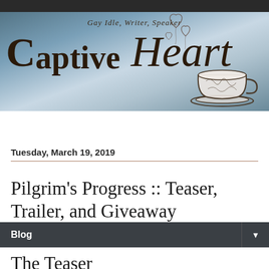[Figure (illustration): Blog header banner for 'Captive Heart' blog by Gay Idle, Writer, Speaker. Features the blog name in large serif/script mixed font with a decorative teacup illustration and floating hearts on a blue-grey gradient background.]
Blog ▼
Tuesday, March 19, 2019
Pilgrim's Progress :: Teaser, Trailer, and Giveaway
The Teaser